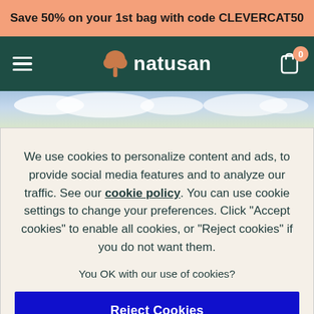Save 50% on your 1st bag with code CLEVERCAT50
[Figure (screenshot): Natusan website navigation bar with hamburger menu, tree logo with 'natusan' text, and shopping cart icon with 0 badge]
[Figure (photo): Sky with clouds strip background image]
We use cookies to personalize content and ads, to provide social media features and to analyze our traffic. See our cookie policy. You can use cookie settings to change your preferences. Click "Accept cookies" to enable all cookies, or "Reject cookies" if you do not want them.
You OK with our use of cookies?
Reject Cookies